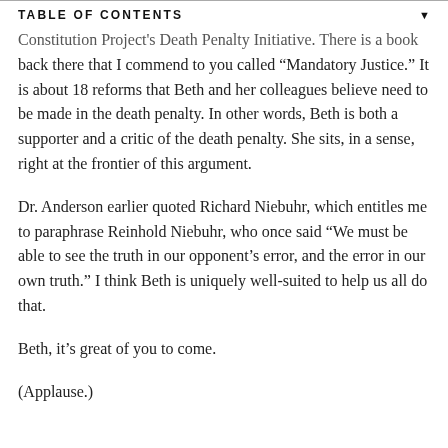TABLE OF CONTENTS
Constitution Project's Death Penalty Initiative. There is a book back there that I commend to you called “Mandatory Justice.” It is about 18 reforms that Beth and her colleagues believe need to be made in the death penalty. In other words, Beth is both a supporter and a critic of the death penalty. She sits, in a sense, right at the frontier of this argument.
Dr. Anderson earlier quoted Richard Niebuhr, which entitles me to paraphrase Reinhold Niebuhr, who once said “We must be able to see the truth in our opponent’s error, and the error in our own truth.” I think Beth is uniquely well-suited to help us all do that.
Beth, it’s great of you to come.
(Applause.)